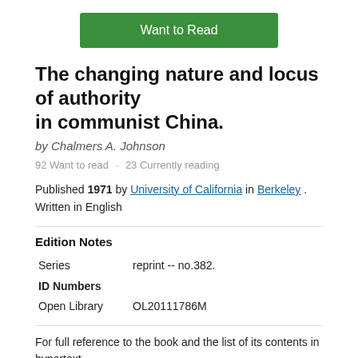[Figure (other): Green 'Want to Read' button]
The changing nature and locus of authority in communist China.
by Chalmers A. Johnson
92 Want to read · 23 Currently reading
Published 1971 by University of California in Berkeley . Written in English
Edition Notes
| Series | reprint -- no.382. |
| ID Numbers |  |
| Open Library | OL20111786M |
For full reference to the book and the list of its contents in hypertext,